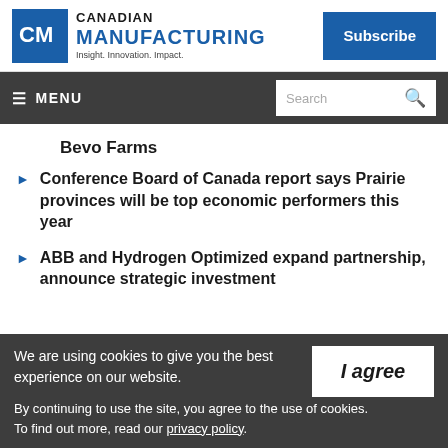Canadian Manufacturing — Insight. Innovation. Impact.
Subscribe
MENU | Search
Bevo Farms
Conference Board of Canada report says Prairie provinces will be top economic performers this year
ABB and Hydrogen Optimized expand partnership, announce strategic investment
We are using cookies to give you the best experience on our website.
By continuing to use the site, you agree to the use of cookies.
To find out more, read our privacy policy.